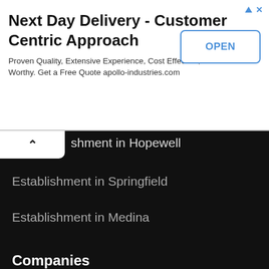[Figure (other): Advertisement banner: Next Day Delivery - Customer Centric Approach. Proven Quality, Extensive Experience, Cost Effective, Trust Worthy. Get a Free Quote apollo-industries.com. With an OPEN button.]
...shment in Hopewell
Establishment in Springfield
Establishment in Medina
Companies
Citizens Bank Supermarket Branch in Akron
What On Earth in Columbus
HD Davis CPAs, LLC in Youngstown
Localities
Amherst